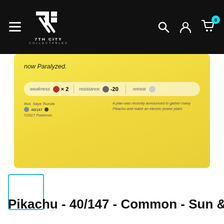[Figure (screenshot): 7th City Collectables website header with hamburger menu, logo, search, account, and cart icons on black background]
[Figure (photo): Bottom portion of a Pikachu Pokemon card (40/147) showing yellow card background, text 'now Paralyzed.', weakness/resistance/retreat stats row, illustrator credit 'Illus. Saya Tsuruta', card number 40/147, copyright 2017 Pokemon, and flavor text 'A plan was recently announced to gather many Pikachu and make an electric power plant.']
[Figure (photo): Small thumbnail image of the Pikachu card with teal/cyan border, white interior]
Pikachu - 40/147 - Common - Sun &